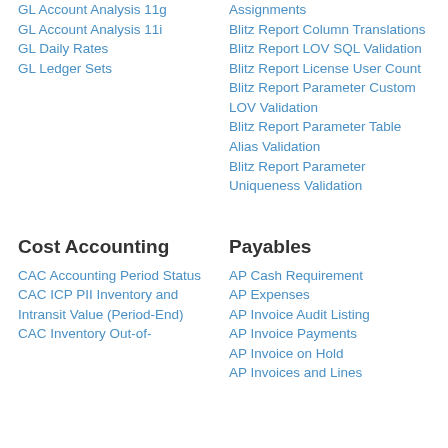GL Account Analysis 11g
GL Account Analysis 11i
GL Daily Rates
GL Ledger Sets
Assignments
Blitz Report Column Translations
Blitz Report LOV SQL Validation
Blitz Report License User Count
Blitz Report Parameter Custom LOV Validation
Blitz Report Parameter Table Alias Validation
Blitz Report Parameter Uniqueness Validation
Cost Accounting
Payables
CAC Accounting Period Status
CAC ICP PII Inventory and Intransit Value (Period-End)
CAC Inventory Out-of-
AP Cash Requirement
AP Expenses
AP Invoice Audit Listing
AP Invoice Payments
AP Invoice on Hold
AP Invoices and Lines